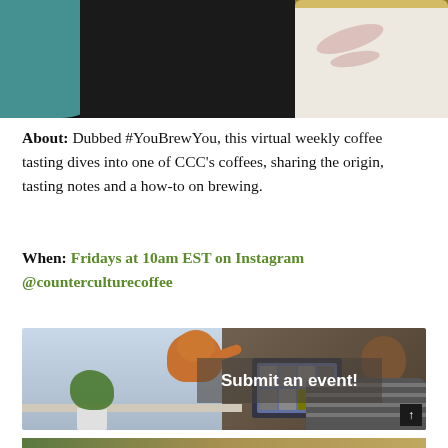[Figure (photo): Top portion of a photo showing a white marble coffee mug with pink accents against a dark background, with a teal/blue vase visible on the left]
About: Dubbed #YouBrewYou, this virtual weekly coffee tasting dives into one of CCC's coffees, sharing the origin, tasting notes and a how-to on brewing.
When: Fridays at 10am EST on Instagram @counterculturecoffee
[Figure (photo): Photo of a person working at a laptop with a cat on the windowsill and a plant, with a semi-transparent overlay showing the text 'Submit an event!']
[Figure (photo): Bottom edge of another photo visible at the very bottom of the page]